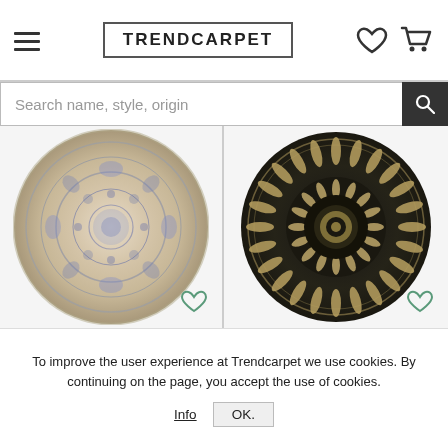TRENDCARPET
Search name, style, origin
[Figure (photo): Round rug with blue and beige vintage/distressed pattern]
[Figure (photo): Round rug with dark navy/black background and gold mandala sunflower pattern]
To improve the user experience at Trendcarpet we use cookies. By continuing on the page, you accept the use of cookies.
Info  OK.